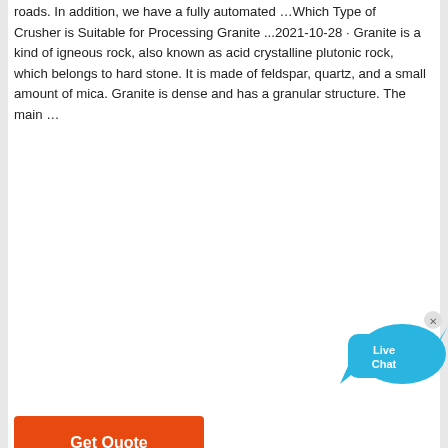roads. In addition, we have a fully automated …Which Type of Crusher is Suitable for Processing Granite ...2021-10-28 · Granite is a kind of igneous rock, also known as acid crystalline plutonic rock, which belongs to hard stone. It is made of feldspar, quartz, and a small amount of mica. Granite is dense and has a granular structure. The main …
[Figure (screenshot): Live Chat button widget — two overlapping blue speech bubbles with white text 'Live Chat' and a small 'x' close button in the upper right corner]
[Figure (other): Orange 'Get Quote' button]
[Figure (photo): Aerial/overhead photograph of three industrial cone crusher machines placed on a sandy/dirt ground surface, viewed from above. Workers and equipment can be seen around them.]